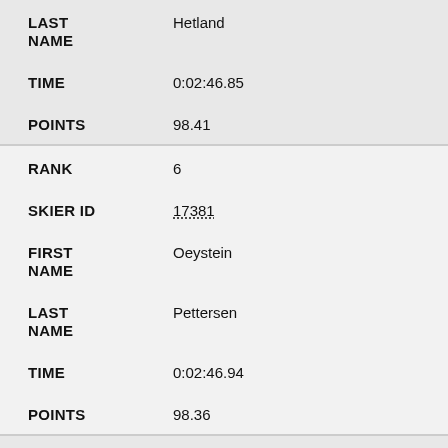| Field | Value |
| --- | --- |
| LAST NAME | Hetland |
| TIME | 0:02:46.85 |
| POINTS | 98.41 |
| RANK | 6 |
| SKIER ID | 17381 |
| FIRST NAME | Oeystein |
| LAST NAME | Pettersen |
| TIME | 0:02:46.94 |
| POINTS | 98.36 |
| RANK | 7 |